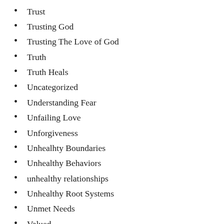Trust
Trusting God
Trusting The Love of God
Truth
Truth Heals
Uncategorized
Understanding Fear
Unfailing Love
Unforgiveness
Unhealhty Boundaries
Unhealthy Behaviors
unhealthy relationships
Unhealthy Root Systems
Unmet Needs
Valued
Verbaal Abuse